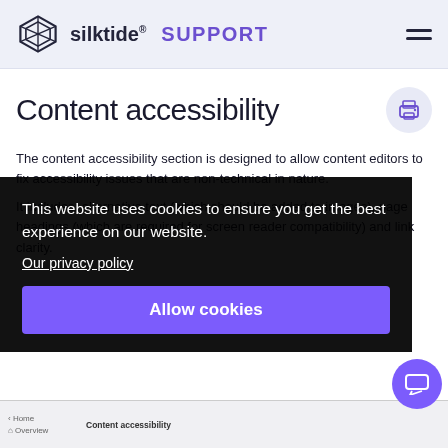silktide® SUPPORT
Content accessibility
The content accessibility section is designed to allow content editors to fix accessibility issues that are non-technical in nature.
It includes: alternative text (which should be added to images), page headings (which are required for screen reader compatibility) and link clarity.
This website uses cookies to ensure you get the best experience on our website.
Our privacy policy
Allow cookies